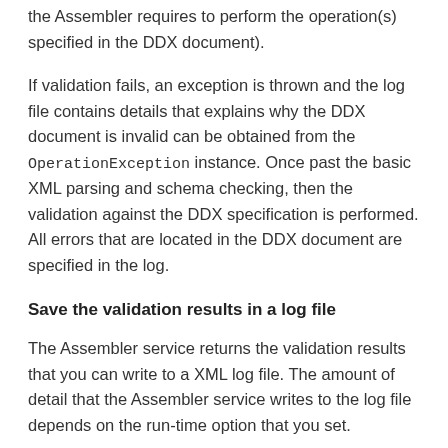the Assembler requires to perform the operation(s) specified in the DDX document).
If validation fails, an exception is thrown and the log file contains details that explains why the DDX document is invalid can be obtained from the OperationException instance. Once past the basic XML parsing and schema checking, then the validation against the DDX specification is performed. All errors that are located in the DDX document are specified in the log.
Save the validation results in a log file
The Assembler service returns the validation results that you can write to a XML log file. The amount of detail that the Assembler service writes to the log file depends on the run-time option that you set.
See also
Validate a DDX document using the Java API